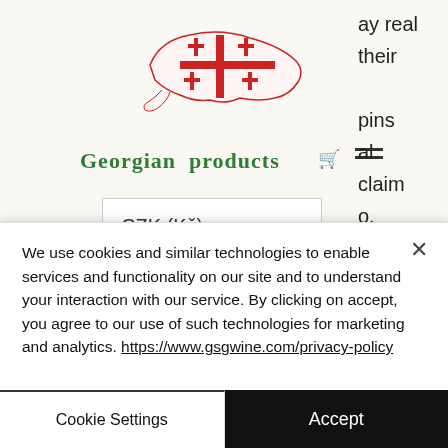[Figure (logo): Georgia country map outline with red cross flag pattern, used as website logo for Georgian products]
Georgian products
ay real their pins al. claim o. nus ino review.
CZK (Kč)
Online casino games variety – one of the first things we always look out for is online
We use cookies and similar technologies to enable services and functionality on our site and to understand your interaction with our service. By clicking on accept, you agree to our use of such technologies for marketing and analytics. https://www.gsgwine.com/privacy-policy
Cookie Settings
Accept